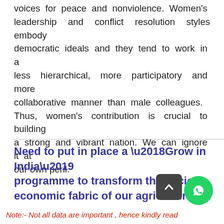voices for peace and nonviolence. Women's leadership and conflict resolution styles embody democratic ideals and they tend to work in a less hierarchical, more participatory and more collaborative manner than male colleagues. Thus, women's contribution is crucial to building a strong and vibrant nation. We can ignore it at our own peril.
Need to put in place a ‘Grow in India’ programme to transform the socio-economic fabric of our agricultural sector: VP
Note:- Not all data are important , hence kindly read